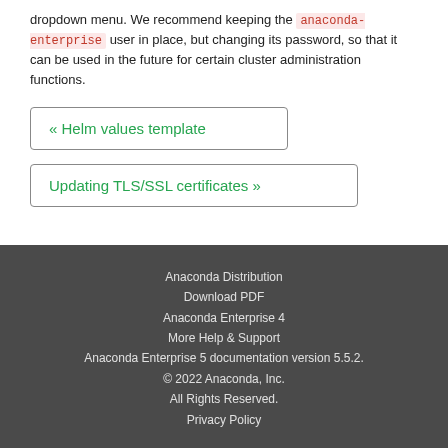dropdown menu. We recommend keeping the anaconda-enterprise user in place, but changing its password, so that it can be used in the future for certain cluster administration functions.
« Helm values template
Updating TLS/SSL certificates »
Anaconda Distribution
Download PDF
Anaconda Enterprise 4
More Help & Support
Anaconda Enterprise 5 documentation version 5.5.2.
© 2022 Anaconda, Inc.
All Rights Reserved.
Privacy Policy